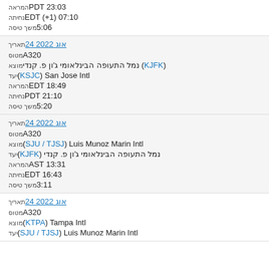PDT 23:03 המראה
EDT (+1) 07:10 נחיתה
5:06 משך טיסה
תאריך 24 אוג 2022
A320 מטוס
מוצא נמל התעופה הבינלאומי ג'ון פ. קנדי (KJFK)
יעד (KSJC) San Jose Intl
EDT 18:49 המראה
PDT 21:10 נחיתה
5:20 משך טיסה
תאריך 24 אוג 2022
A320 מטוס
מוצא (SJU / TJSJ) Luis Munoz Marin Intl
יעד (KJFK) נמל התעופה הבינלאומי ג'ון פ. קנדי
AST 13:31 המראה
EDT 16:43 נחיתה
3:11 משך טיסה
תאריך 24 אוג 2022
A320 מטוס
מוצא (KTPA) Tampa Intl
יעד (SJU / TJSJ) Luis Munoz Marin Intl